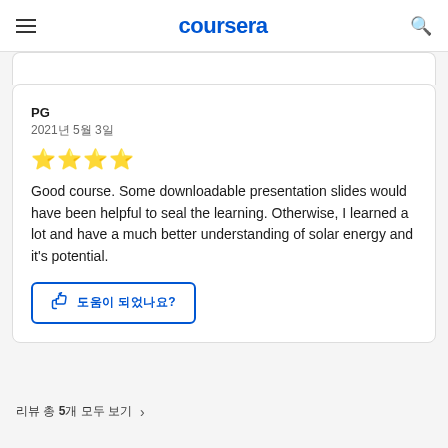coursera
PG
2021년 5월 3일
[Figure (other): Four gold star rating icons]
Good course. Some downloadable presentation slides would have been helpful to seal the learning. Otherwise, I learned a lot and have a much better understanding of solar energy and it's potential.
도움이 되었나요?
리뷰 총 5개 모두 보기 >